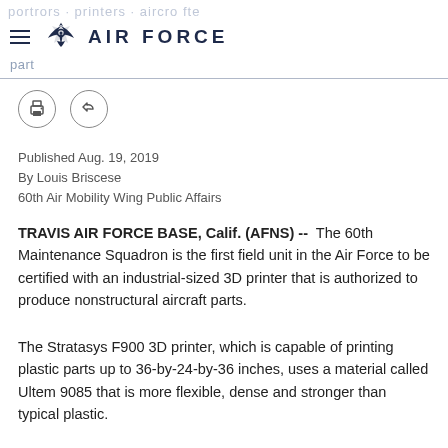AIR FORCE
Published Aug. 19, 2019
By Louis Briscese
60th Air Mobility Wing Public Affairs
TRAVIS AIR FORCE BASE, Calif. (AFNS) -- The 60th Maintenance Squadron is the first field unit in the Air Force to be certified with an industrial-sized 3D printer that is authorized to produce nonstructural aircraft parts.
The Stratasys F900 3D printer, which is capable of printing plastic parts up to 36-by-24-by-36 inches, uses a material called Ultem 9085 that is more flexible, dense and stronger than typical plastic.